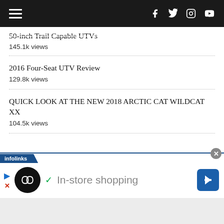Navigation bar with hamburger menu and social icons (Facebook, Twitter, Instagram, YouTube)
50-inch Trail Capable UTVs
145.1k views
2016 Four-Seat UTV Review
129.8k views
QUICK LOOK AT THE NEW 2018 ARCTIC CAT WILDCAT XX
104.5k views
[Figure (screenshot): Infolinks advertisement banner showing 'In-store shopping' text with logo and navigation arrow]